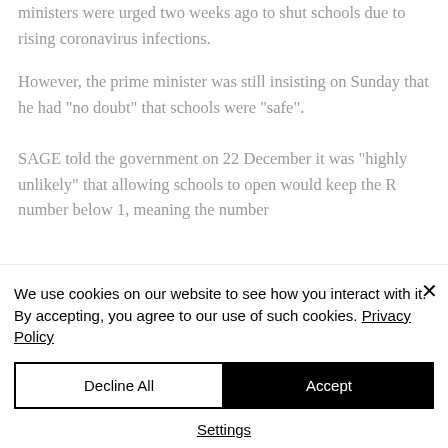ministers were urged two weeks ago to shut schools due to rising coronavirus infections.
However, the prime minister was still insisting on Sunday that he had "no doubt" that schools were "safe".
SAGE told the government on 22 December it was "highly unlikely" that allowing schools to open would keep the R number below 1, meaning the number
We use cookies on our website to see how you interact with it. By accepting, you agree to our use of such cookies. Privacy Policy
Decline All
Accept
Settings